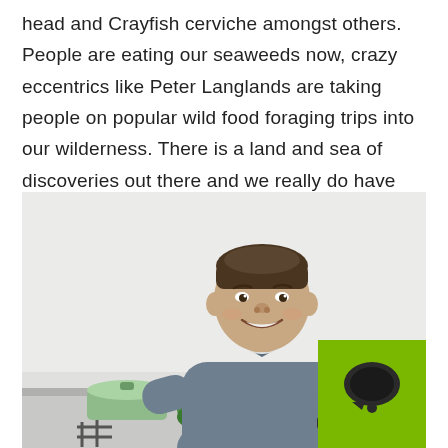head and Crayfish cerviche amongst others. People are eating our seaweeds now, crazy eccentrics like Peter Langlands are taking people on popular wild food foraging trips into our wilderness. There is a land and sea of discoveries out there and we really do have the best produce in the world, all on our doorstep.
[Figure (photo): A smiling man in a blue-grey long-sleeve polo shirt holding a red tomato in a kitchen setting, standing at a counter with green vegetables and kitchen equipment visible. A green square logo with a speech bubble icon appears in the bottom right corner.]